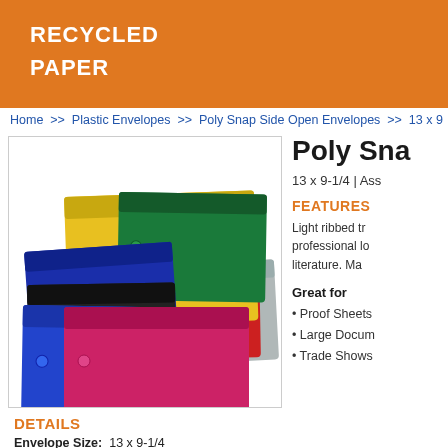RECYCLED
PAPER
Home >> Plastic Envelopes >> Poly Snap Side Open Envelopes >> 13 x 9
[Figure (photo): Photo of multiple poly snap side open envelopes in various colors: yellow, teal/green, blue, black, red, gray, and pink/magenta, arranged in a stacked fan layout.]
DETAILS
Envelope Size: 13 x 9-1/4
PRODUCT: Poly Snap Side Open Envelopes
Poly Sna
13 x 9-1/4 | Ass
FEATURES
Light ribbed tr professional lo literature. Ma
Great for
Proof Sheets
Large Docum
Trade Shows